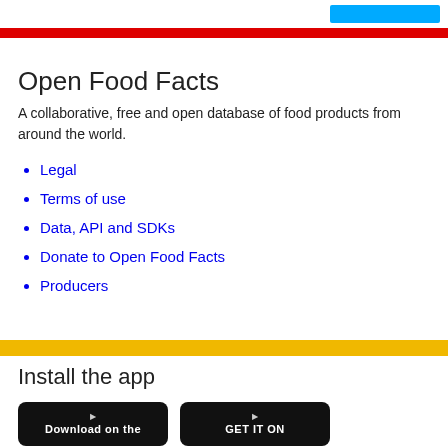Open Food Facts
A collaborative, free and open database of food products from around the world.
Legal
Terms of use
Data, API and SDKs
Donate to Open Food Facts
Producers
Install the app
[Figure (screenshot): Download on the App Store button (black rounded rectangle)]
[Figure (screenshot): GET IT ON Google Play button (black rounded rectangle)]